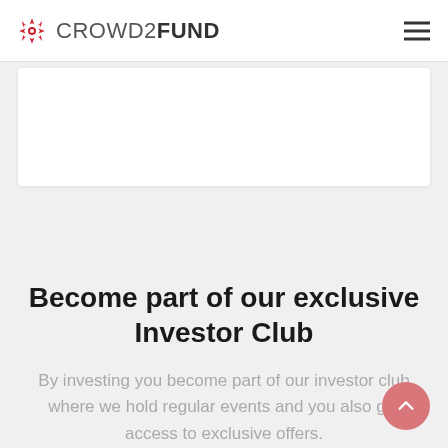CROWD2FUND
[Figure (other): White card/content area placeholder]
Become part of our exclusive Investor Club
By investing you become part of our investor club where we hold regular events and you also get access to exclusive offers.